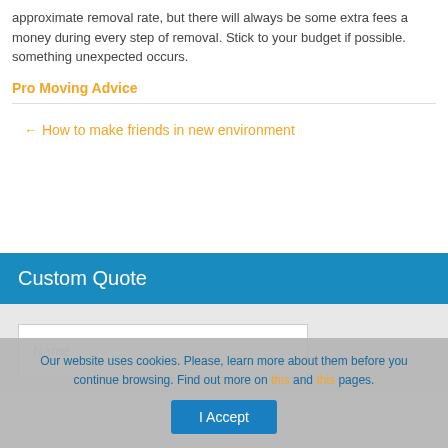approximate removal rate, but there will always be some extra fees a... money during every step of removal. Stick to your budget if possible. something unexpected occurs.
Pro Moving Advice
← How to make friends in new environment
Custom Quote
Name
Our website uses cookies. Please, learn more about them before you continue browsing. Find out more on this and this pages.
I Accept